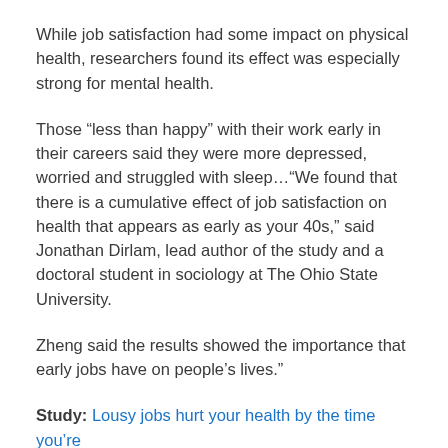While job satisfaction had some impact on physical health, researchers found its effect was especially strong for mental health.
Those “less than happy” with their work early in their careers said they were more depressed, worried and struggled with sleep…“We found that there is a cumulative effect of job satisfaction on health that appears as early as your 40s,” said Jonathan Dirlam, lead author of the study and a doctoral student in sociology at The Ohio State University.
Zheng said the results showed the importance that early jobs have on people’s lives.”
Study: Lousy jobs hurt your health by the time you’re